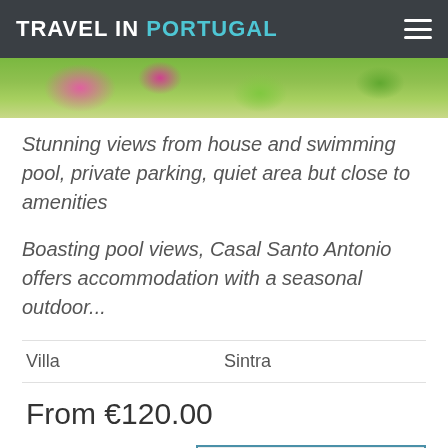TRAVEL IN PORTUGAL
[Figure (photo): Partial view of a garden with flowers and greenery, used as a property photo strip]
Stunning views from house and swimming pool, private parking, quiet area but close to amenities
Boasting pool views, Casal Santo Antonio offers accommodation with a seasonal outdoor...
Villa    Sintra
From €120.00
Show on map
View details